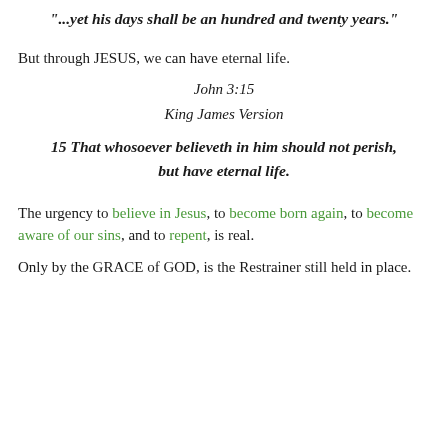"...yet his days shall be an hundred and twenty years."
But through JESUS, we can have eternal life.
John 3:15
King James Version
15 That whosoever believeth in him should not perish, but have eternal life.
The urgency to believe in Jesus, to become born again, to become aware of our sins, and to repent, is real.
Only by the GRACE of GOD, is the Restrainer still held in place.